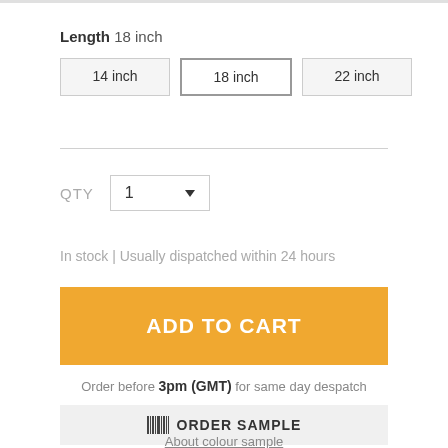Length 18 inch
14 inch | 18 inch | 22 inch
QTY 1
In stock | Usually dispatched within 24 hours
ADD TO CART
Order before 3pm (GMT) for same day despatch
ORDER SAMPLE
About colour sample